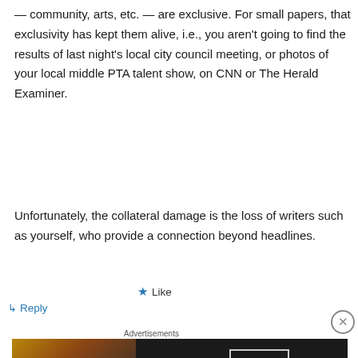— community, arts, etc. — are exclusive. For small papers, that exclusivity has kept them alive, i.e., you aren't going to find the results of last night's local city council meeting, or photos of your local middle PTA talent show, on CNN or The Herald Examiner.
Unfortunately, the collateral damage is the loss of writers such as yourself, who provide a connection beyond headlines.
★ Like
↳ Reply
Advertisements
[Figure (other): Seamless food delivery advertisement banner showing pizza image on left, Seamless logo in red pill in center, and ORDER NOW text in white box on right, all on dark background]